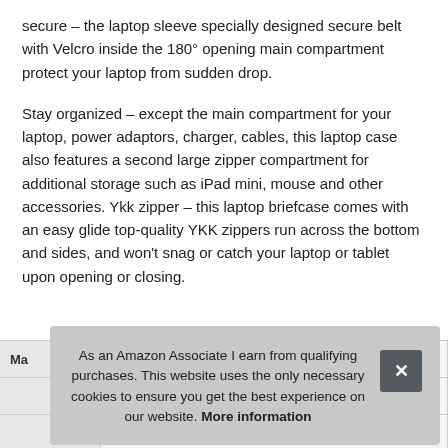secure – the laptop sleeve specially designed secure belt with Velcro inside the 180° opening main compartment protect your laptop from sudden drop.
Stay organized – except the main compartment for your laptop, power adaptors, charger, cables, this laptop case also features a second large zipper compartment for additional storage such as iPad mini, mouse and other accessories. Ykk zipper – this laptop briefcase comes with an easy glide top-quality YKK zippers run across the bottom and sides, and won't snag or catch your laptop or tablet upon opening or closing.
| Ma |
| --- |
|  |
As an Amazon Associate I earn from qualifying purchases. This website uses the only necessary cookies to ensure you get the best experience on our website. More information